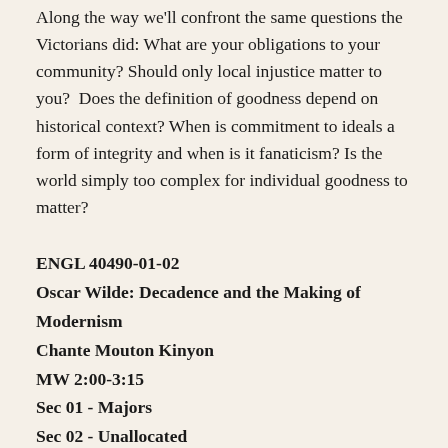Along the way we'll confront the same questions the Victorians did: What are your obligations to your community? Should only local injustice matter to you?  Does the definition of goodness depend on historical context? When is commitment to ideals a form of integrity and when is it fanaticism? Is the world simply too complex for individual goodness to matter?
ENGL 40490-01-02
Oscar Wilde: Decadence and the Making of Modernism
Chante Mouton Kinyon
MW 2:00-3:15
Sec 01 - Majors
Sec 02 - Unallocated
Using the life and career of Oscar Wilde as our focus